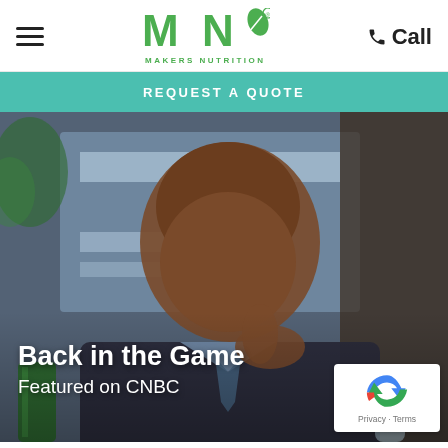Makers Nutrition — Call
REQUEST A QUOTE
[Figure (photo): A man in a suit jacket resting his chin on his hand, looking thoughtful, against a blurred blue background. A green product bottle and a water bottle are partially visible in the foreground. Text overlay reads 'Back in the Game' and 'Featured on CNBC'.]
Back in the Game — Featured on CNBC